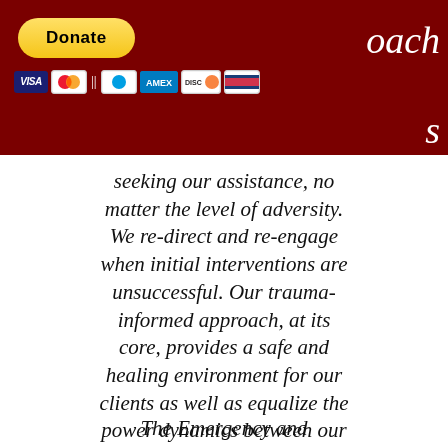[Figure (screenshot): Dark red header bar with a yellow PayPal Donate button, payment card icons (Visa, Mastercard, Discover, American Express, and others), and partial italic white text 'oach' and 's' visible on the right side of the header.]
seeking our assistance, no matter the level of adversity. We re-direct and re-engage when initial interventions are unsuccessful. Our trauma-informed approach, at its core, provides a safe and healing environment for our clients as well as equalize the power dynamics between our clients and referred service providers.
The Emergency and